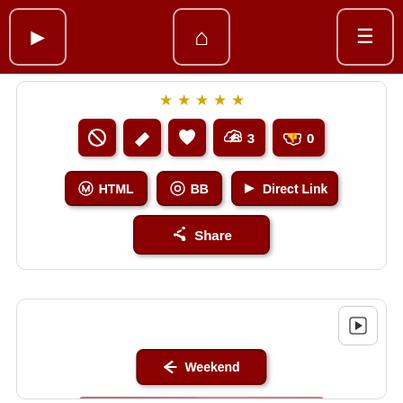[Figure (screenshot): Website navigation bar with dark red background, three buttons: arrow (>), home icon, and hamburger menu (≡)]
[Figure (screenshot): Content card with star rating row, icon buttons (block, edit, heart, thumbs up 3, thumbs down 0), action buttons (HTML, BB, Direct Link), and Share button]
[Figure (screenshot): Second card with play button, Weekend button with left arrow, and a greeting card image showing a bear with flowers and text 'Hello Friend Happy Weekend Hugs from Christy']